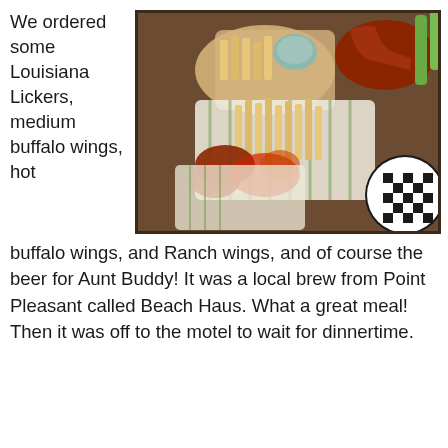We ordered some Louisiana Lickers, medium buffalo wings, hot
[Figure (photo): Overhead view of baskets of food including french fries, buffalo wings with various sauces, served in paper-lined baskets on a restaurant table.]
buffalo wings, and Ranch wings, and of course the beer for Aunt Buddy!  It was a local brew from Point Pleasant called Beach Haus.   What a great meal!  Then it was off to the motel to wait for dinnertime.